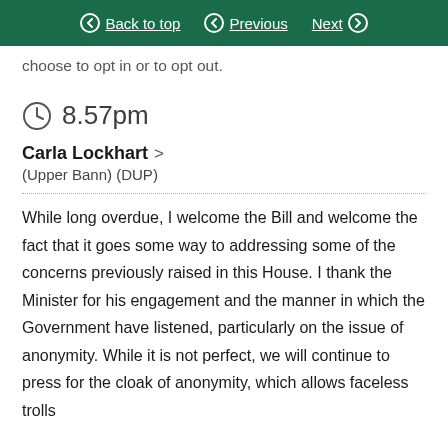Back to top   Previous   Next
choose to opt in or to opt out.
8.57pm
Carla Lockhart >
(Upper Bann) (DUP)
While long overdue, I welcome the Bill and welcome the fact that it goes some way to addressing some of the concerns previously raised in this House. I thank the Minister for his engagement and the manner in which the Government have listened, particularly on the issue of anonymity. While it is not perfect, we will continue to press for the cloak of anonymity, which allows faceless trolls